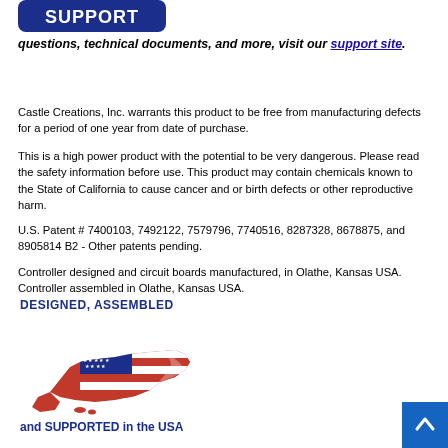[Figure (logo): Castle Creations FIND SUPPORT badge with blue rounded rectangle and bold white SUPPORT text]
questions, technical documents, and more, visit our support site.
Castle Creations, Inc. warrants this product to be free from manufacturing defects for a period of one year from date of purchase.
This is a high power product with the potential to be very dangerous. Please read the safety information before use. This product may contain chemicals known to the State of California to cause cancer and or birth defects or other reproductive harm.
U.S. Patent # 7400103, 7492122, 7579796, 7740516, 8287328, 8678875, and 8905814 B2 - Other patents pending.
Controller designed and circuit boards manufactured, in Olathe, Kansas USA. Controller assembled in Olathe, Kansas USA.
[Figure (illustration): DESIGNED, ASSEMBLED graphic with US flag draped over USA map shape, and text 'and SUPPORTED in the USA' below]
[Figure (other): Blue back-to-top button with white upward chevron arrow in bottom right corner]